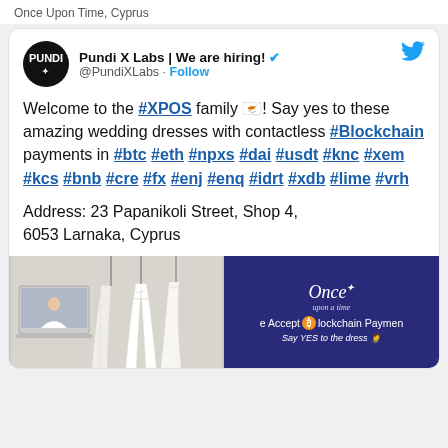Once Upon Time, Cyprus
Pundi X Labs | We are hiring! @PundiXLabs · Follow
Welcome to the #XPOS family 🇨🇾! Say yes to these amazing wedding dresses with contactless #Blockchain payments in #btc #eth #npxs #dai #usdt #knc #xem #kcs #bnb #cre #fx #enj #enq #idrt #xdb #lime #vrh
Address: 23 Papanikoli Street, Shop 4, 6053 Larnaka, Cyprus
[Figure (photo): Two photos side by side: left shows wedding dresses and a laptop screen with a bride; right shows dark blue promotional card for 'Once Upon Time' bridal shop with text 'We Accept Blockchain Payments - Say YES to the dress']